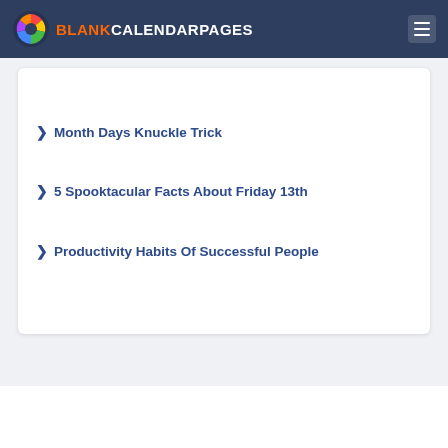BLANK CALENDAR PAGES
Month Days Knuckle Trick
5 Spooktacular Facts About Friday 13th
Productivity Habits Of Successful People